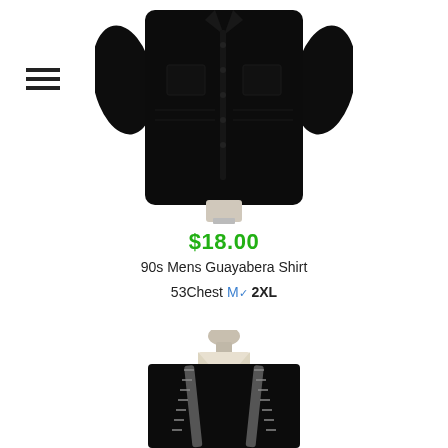[Figure (photo): Black short-sleeve guayabera shirt displayed on a mannequin, top portion of the page]
$18.00
90s Mens Guayabera Shirt
53Chest M or 2XL
[Figure (photo): Black shirt with suspenders on a mannequin, cropped to show collar and upper body only]